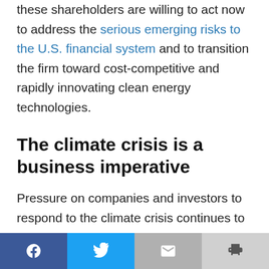these shareholders are willing to act now to address the serious emerging risks to the U.S. financial system and to transition the firm toward cost-competitive and rapidly innovating clean energy technologies.
The climate crisis is a business imperative
Pressure on companies and investors to respond to the climate crisis continues to surge. The real winners will emerge based on their ability to maintain the social license to operate